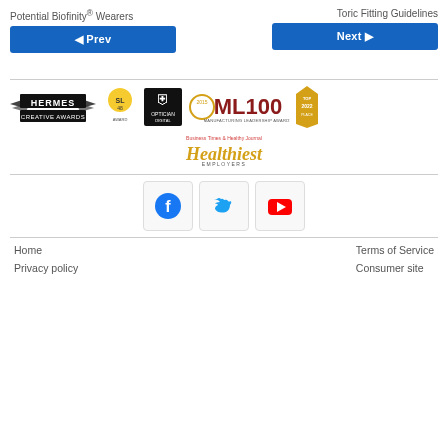Potential Biofinity® Wearers
Toric Fitting Guidelines
◄ Prev
Next ►
[Figure (logo): Award logos: Hermes Creative Awards, SL48, Optician Digital, ML100 Manufacturing Leadership Awards 2015, Top Places badge, Healthiest Employers]
[Figure (logo): Social media icons: Facebook, Twitter, YouTube]
Home
Terms of Service
Privacy policy
Consumer site